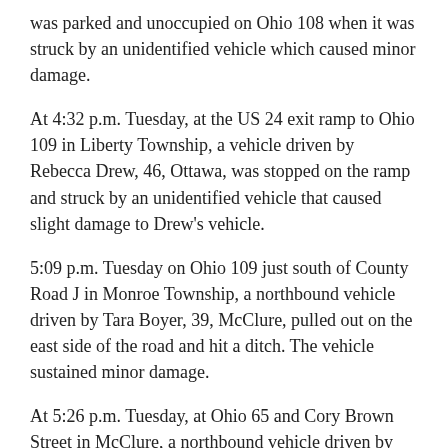was parked and unoccupied on Ohio 108 when it was struck by an unidentified vehicle which caused minor damage.
At 4:32 p.m. Tuesday, at the US 24 exit ramp to Ohio 109 in Liberty Township, a vehicle driven by Rebecca Drew, 46, Ottawa, was stopped on the ramp and struck by an unidentified vehicle that caused slight damage to Drew’s vehicle.
5:09 p.m. Tuesday on Ohio 109 just south of County Road J in Monroe Township, a northbound vehicle driven by Tara Boyer, 39, McClure, pulled out on the east side of the road and hit a ditch. The vehicle sustained minor damage.
At 5:26 p.m. Tuesday, at Ohio 65 and Cory Brown Street in McClure, a northbound vehicle driven by Thomas Cartledge, 37, Delta, sustained heavy damage when it pulled off the roadway and hit a stop sign at the intersection.